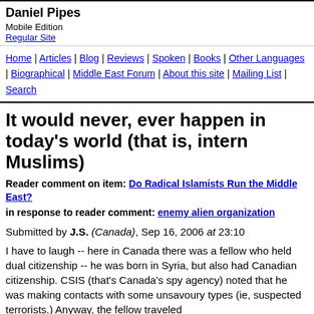Daniel Pipes
Mobile Edition
Regular Site
Home | Articles | Blog | Reviews | Spoken | Books | Other Languages | Biographical | Middle East Forum | About this site | Mailing List | Search
It would never, ever happen in today's world (that is, intern Muslims)
Reader comment on item: Do Radical Islamists Run the Middle East?
in response to reader comment: enemy alien organization
Submitted by J.S. (Canada), Sep 16, 2006 at 23:10
I have to laugh -- here in Canada there was a fellow who held dual citizenship -- he was born in Syria, but also had Canadian citizenship. CSIS (that's Canada's spy agency) noted that he was making contacts with some unsavoury types (ie, suspected terrorists.) Anyway, the fellow traveled